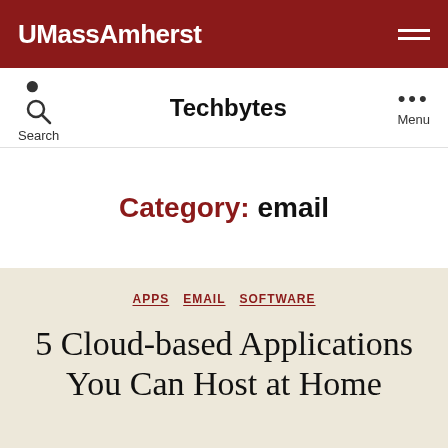UMassAmherst
Techbytes
Category: email
APPS  EMAIL  SOFTWARE
5 Cloud-based Applications You Can Host at Home